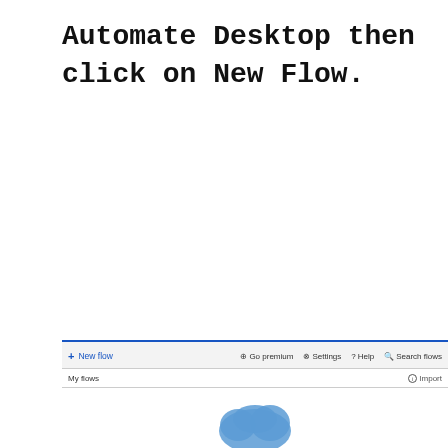Automate Desktop then click on New Flow.
[Figure (screenshot): Screenshot of Power Automate Desktop interface showing a toolbar with '+ New Flow', 'Go premium', 'Settings', 'Help', 'Search flows' buttons, and a 'My flows' section below with a partially visible cloud/flow icon at the bottom.]